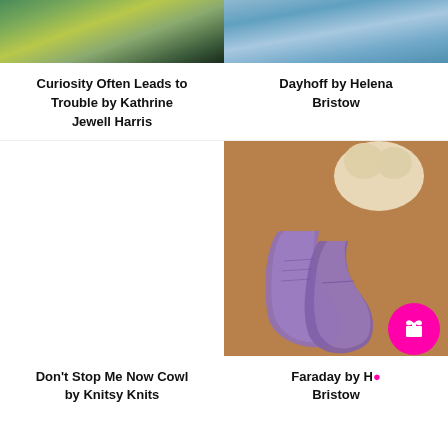[Figure (photo): Knitted shawl or skirt in teal, yellow, and green tones, partial view]
[Figure (photo): Knitted item in blue and teal variegated yarn, partial view on wooden surface]
Curiosity Often Leads to Trouble by Kathrine Jewell Harris
Dayhoff by Helena Bristow
[Figure (photo): Cat paw resting on purple hand-knitted socks on a wooden floor]
Don't Stop Me Now Cowl by Knitsy Knits
Faraday by Helena Bristow